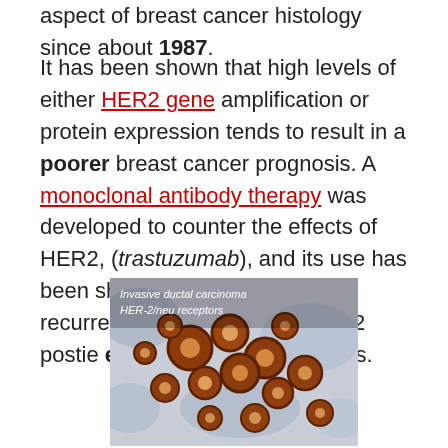aspect of breast cancer histology since about 1987.
It has been shown that high levels of either HER2 gene amplification or protein expression tends to result in a poorer breast cancer prognosis. A monoclonal antibody therapy was developed to counter the effects of HER2, (trastuzumab), and its use has been shown to reduce rates of recurrence and mortality in HER2 postie early stage breast cancers.
[Figure (photo): Histology microscopy image of invasive ductal carcinoma showing HER-2/neu receptors. Brown staining on cancer cells against a blue/grey background tissue.]